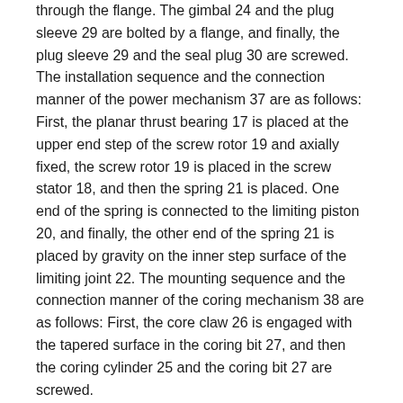through the flange. The gimbal 24 and the plug sleeve 29 are bolted by a flange, and finally, the plug sleeve 29 and the seal plug 30 are screwed. The installation sequence and the connection manner of the power mechanism 37 are as follows: First, the planar thrust bearing 17 is placed at the upper end step of the screw rotor 19 and axially fixed, the screw rotor 19 is placed in the screw stator 18, and then the spring 21 is placed. One end of the spring is connected to the limiting piston 20, and finally, the other end of the spring 21 is placed by gravity on the inner step surface of the limiting joint 22. The mounting sequence and the connection manner of the coring mechanism 38 are as follows: First, the core claw 26 is engaged with the tapered surface in the coring bit 27, and then the coring cylinder 25 and the coring bit 27 are screwed.
As described above, in the present embodiment, the outer cylinder set 34, the fishing mechanism 35, the drilling sealing mechanism 36, the power mechanism 37, and the coring mechanism 38 each have their own specific structural composition and connection relationship, and such a structural form is The best embodiment of the invention achieves the best results: the core can be taken with the drilling collar and the core with the bore are done